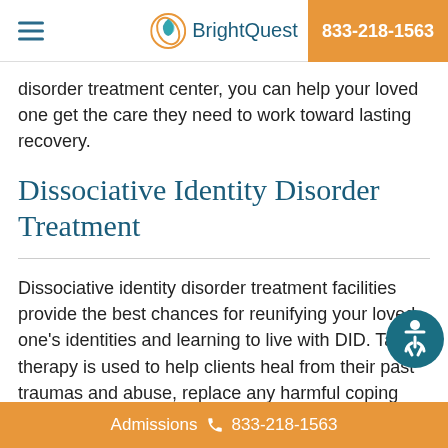BrightQuest | 833-218-1563
disorder treatment center, you can help your loved one get the care they need to work toward lasting recovery.
Dissociative Identity Disorder Treatment
Dissociative identity disorder treatment facilities provide the best chances for reunifying your loved one's identities and learning to live with DID. Talk therapy is used to help clients heal from their past traumas and abuse, replace any harmful coping methods with more effective and healthy strategies, identify all identities or alters, and help clients
Admissions 833-218-1563